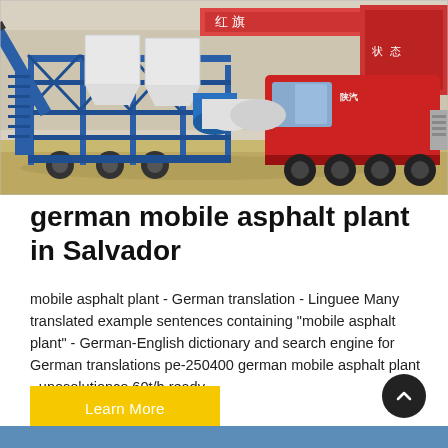[Figure (photo): Mobile asphalt plant — a large blue metal-frame mixing/screening machine mounted on a trailer, with white hopper bins and a blue cylindrical drum, parked alongside a red semi-truck cab in an outdoor yard with Chinese signage in the background.]
german mobile asphalt plant in Salvador
mobile asphalt plant - German translation - Linguee Many translated example sentences containing "mobile asphalt plant" - German-English dictionary and search engine for German translations pe-250400 german mobile asphalt plant - unosolutionco 60t/h ready.
Learn More